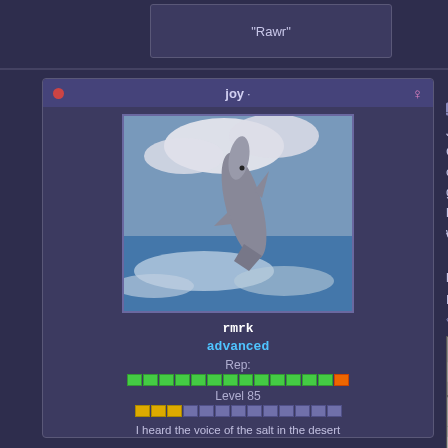"Rawr"
joy · #24 · Nov 16, 2010
[Figure (photo): Dolphin leaping out of ocean waves]
rmrk advanced
Rep:
Level 85
I heard the voice of the salt in the desert
Just finished the demo and I have to say, s... Graphics are fantastic, love the menu and b... only recommendation is a little more polish... good, but seem a little clunky and awkward... little history page about the empire and the... what it was.
Very much looking forward to this game no...
Edit:
Found the typo! Near the end of the first pa...
« Last Edit: November 16, 2010, 06:34:06 PM by jo...
[Figure (photo): Aerial or landscape greyscale terrain photo]